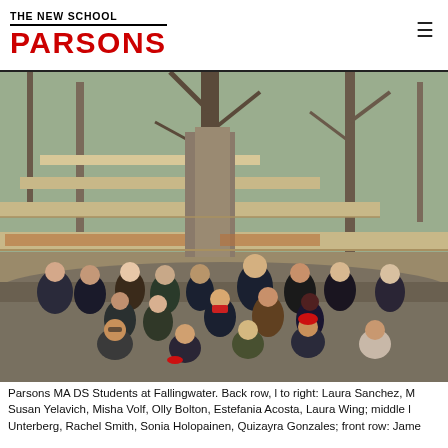THE NEW SCHOOL PARSONS
[Figure (photo): Group photo of Parsons MA DS students standing in front of Fallingwater (Frank Lloyd Wright building) in a wooded setting during winter. Students are dressed in winter coats. Back row stands, front row crouches.]
Parsons MA DS Students at Fallingwater. Back row, l to right: Laura Sanchez, M Susan Yelavich, Misha Volf, Olly Bolton, Estefania Acosta, Laura Wing; middle l Unterberg, Rachel Smith, Sonia Holopainen, Quizayra Gonzales; front row: Jame